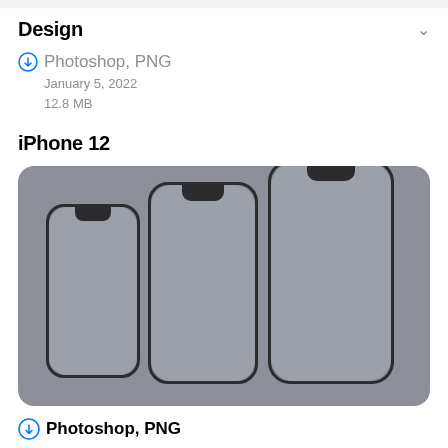Design
Photoshop, PNG
January 5, 2022
12.8 MB
iPhone 12
[Figure (illustration): Three iPhone 12 models shown side by side in ascending size order against a gray rounded rectangle background, representing the iPhone 12 mini, iPhone 12, and iPhone 12 Pro Max wireframe mockups.]
Photoshop, PNG